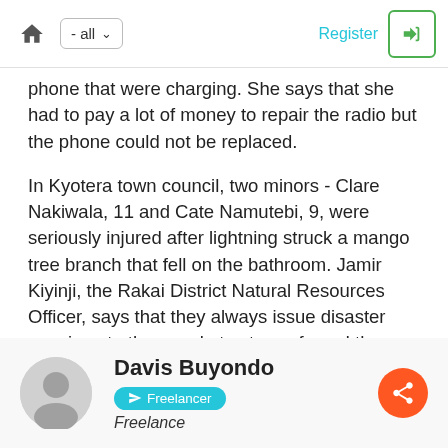home | - all | Register | login
phone that were charging. She says that she had to pay a lot of money to repair the radio but the phone could not be replaced.
In Kyotera town council, two minors - Clare Nakiwala, 11 and Cate Namutebi, 9, were seriously injured after lightning struck a mango tree branch that fell on the bathroom. Jamir Kiyinji, the Rakai District Natural Resources Officer, says that they always issue disaster warnings to the people to stay safe and the campaign continues not only about the lightning but even other disasters such as floods.
Davis Buyondo
Freelancer
Freelance